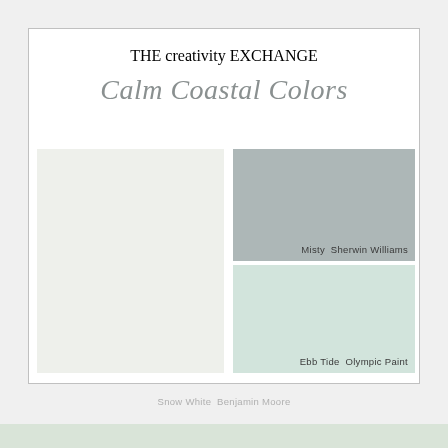THE creativity EXCHANGE
Calm Coastal Colors
[Figure (infographic): Paint color swatches: large left swatch in pale off-white/light gray-green (Snow White, Benjamin Moore), upper right swatch in medium gray (Misty, Sherwin Williams), lower right swatch in pale seafoam green (Ebb Tide, Olympic Paint)]
Misty  Sherwin Williams
Ebb Tide  Olympic Paint
Snow White  Benjamin Moore